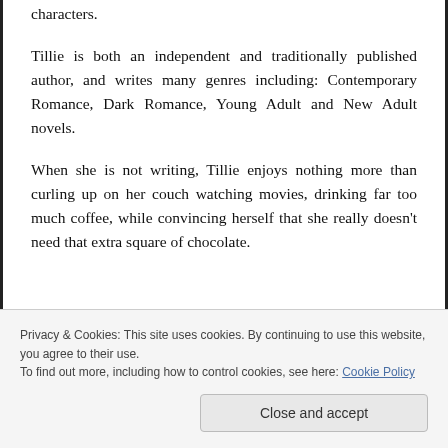characters.
Tillie is both an independent and traditionally published author, and writes many genres including: Contemporary Romance, Dark Romance, Young Adult and New Adult novels.
When she is not writing, Tillie enjoys nothing more than curling up on her couch watching movies, drinking far too much coffee, while convincing herself that she really doesn't need that extra square of chocolate.
Privacy & Cookies: This site uses cookies. By continuing to use this website, you agree to their use.
To find out more, including how to control cookies, see here: Cookie Policy